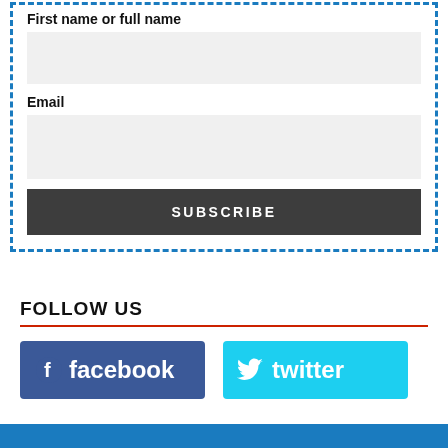First name or full name
Email
SUBSCRIBE
FOLLOW US
[Figure (logo): Facebook logo button — blue background with white f icon and 'facebook' text]
[Figure (logo): Twitter logo button — cyan background with white bird icon and 'twitter' text]